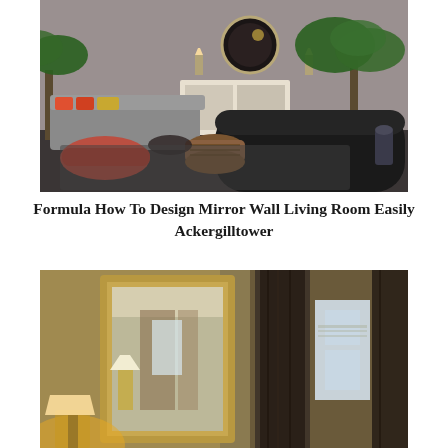[Figure (photo): Interior design showroom with a large black curved sofa in the foreground, a grey sectional sofa with colorful pillows, woven drum stools, a cabinet/sideboard, round mirror on wall, and palm trees in a dark-floored space]
Formula How To Design Mirror Wall Living Room Easily Ackergilltower
[Figure (photo): Room interior with a large ornate gold-framed mirror leaning against a wall, warm lamp light, dark curtains with windows, and a lamp with white shade visible in the reflection]